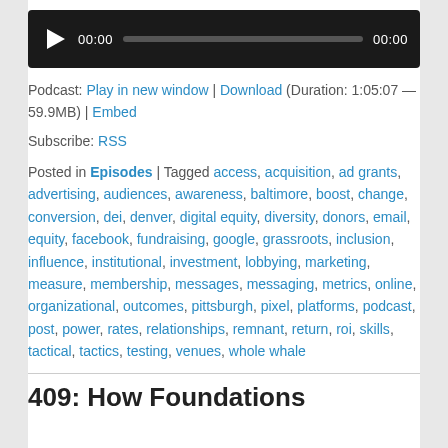[Figure (other): Audio player widget with play button, time display 00:00, progress bar, and end time 00:00 on dark background]
Podcast: Play in new window | Download (Duration: 1:05:07 — 59.9MB) | Embed
Subscribe: RSS
Posted in Episodes | Tagged access, acquisition, ad grants, advertising, audiences, awareness, baltimore, boost, change, conversion, dei, denver, digital equity, diversity, donors, email, equity, facebook, fundraising, google, grassroots, inclusion, influence, institutional, investment, lobbying, marketing, measure, membership, messages, messaging, metrics, online, organizational, outcomes, pittsburgh, pixel, platforms, podcast, post, power, rates, relationships, remnant, return, roi, skills, tactical, tactics, testing, venues, whole whale
409: How Foundations